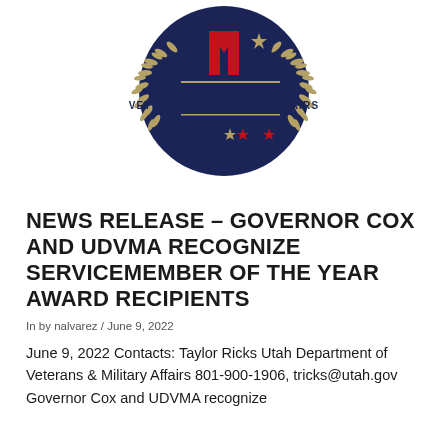[Figure (logo): Utah Department of Veterans & Military Affairs seal/logo with VMA letters, laurel wreath, stars in navy blue, red, and gold colors]
NEWS RELEASE – GOVERNOR COX AND UDVMA RECOGNIZE SERVICEMEMBER OF THE YEAR AWARD RECIPIENTS
In by nalvarez / June 9, 2022
June 9, 2022 Contacts: Taylor Ricks Utah Department of Veterans & Military Affairs 801-900-1906, tricks@utah.gov Governor Cox and UDVMA recognize